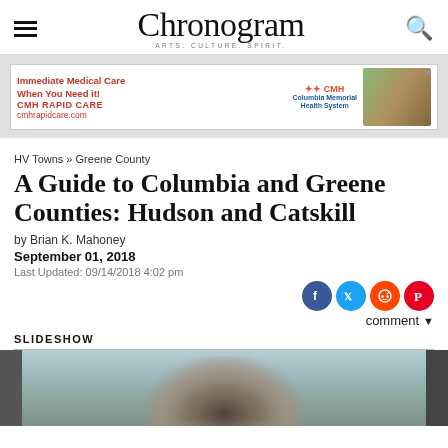Chronogram — ARTS. CULTURE. SPIRIT.
[Figure (other): CMH Rapid Care advertisement banner — Immediate Medical Care When You Need it! CMH RAPID CARE cmhrapidcare.com, with photo of person outdoors]
HV Towns » Greene County
A Guide to Columbia and Greene Counties: Hudson and Catskill
by Brian K. Mahoney
September 01, 2018
Last Updated: 09/14/2018 4:02 pm
comment
SLIDESHOW
[Figure (photo): Bottom portion of a slideshow image showing what appears to be tangled hair or grass fiber in muted tones]